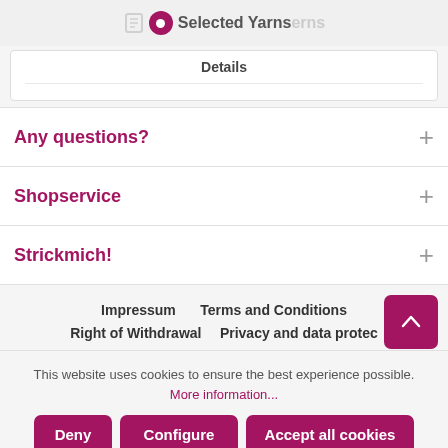Selected Yarns
Details
Any questions?
Shopservice
Strickmich!
Impressum   Terms and Conditions   Right of Withdrawal   Privacy and data protect
This website uses cookies to ensure the best experience possible. More information...
Deny   Configure   Accept all cookies